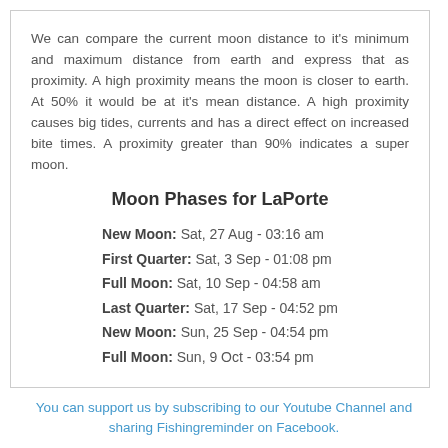We can compare the current moon distance to it's minimum and maximum distance from earth and express that as proximity. A high proximity means the moon is closer to earth. At 50% it would be at it's mean distance. A high proximity causes big tides, currents and has a direct effect on increased bite times. A proximity greater than 90% indicates a super moon.
Moon Phases for LaPorte
New Moon: Sat, 27 Aug - 03:16 am
First Quarter: Sat, 3 Sep - 01:08 pm
Full Moon: Sat, 10 Sep - 04:58 am
Last Quarter: Sat, 17 Sep - 04:52 pm
New Moon: Sun, 25 Sep - 04:54 pm
Full Moon: Sun, 9 Oct - 03:54 pm
You can support us by subscribing to our Youtube Channel and sharing Fishingreminder on Facebook.